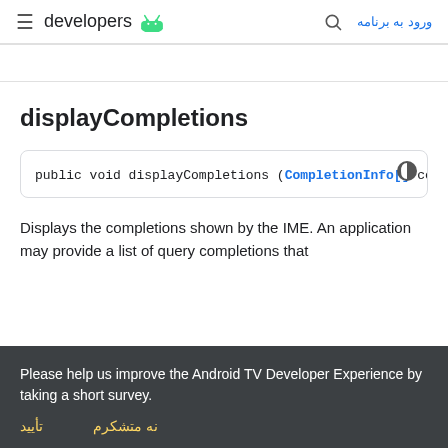developers | ورود به برنامه
displayCompletions
public void displayCompletions (CompletionInfo[] com
Displays the completions shown by the IME. An application may provide a list of query completions that
Please help us improve the Android TV Developer Experience by taking a short survey.
تأیید
نه متشکرم